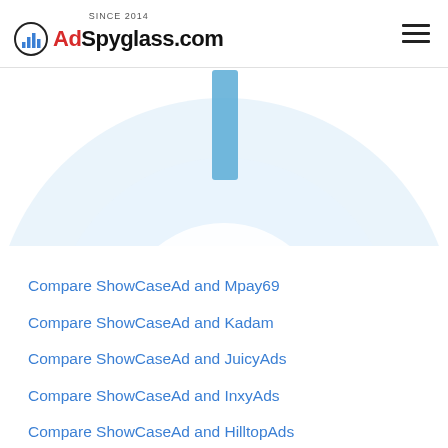SINCE 2014 AdSpyglass.com
[Figure (other): Partial donut or pie chart visible at the top of the page with light blue tones and a teal/blue vertical bar element near the center top]
Compare ShowCaseAd and Mpay69
Compare ShowCaseAd and Kadam
Compare ShowCaseAd and JuicyAds
Compare ShowCaseAd and InxyAds
Compare ShowCaseAd and HilltopAds
Compare ShowCaseAd and HeartBid